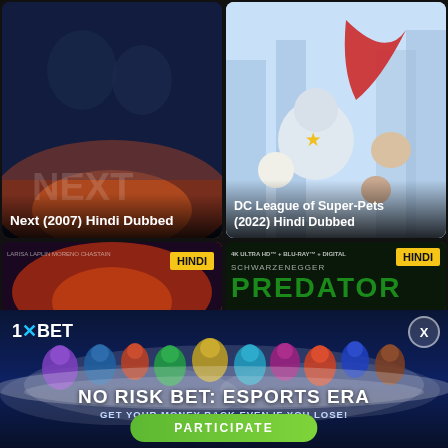[Figure (screenshot): Movie card for Next (2007) Hindi Dubbed - blue-tinted thriller poster with faces]
Next (2007) Hindi Dubbed
[Figure (screenshot): Movie card for DC League of Super-Pets (2022) Hindi Dubbed - animated superhero animals poster]
DC League of Super-Pets (2022) Hindi Dubbed
[Figure (screenshot): Movie card partial - Dark Phoenix with HINDI badge]
[Figure (screenshot): Movie card partial - Predator 4K Ultra HD with HINDI badge, Schwarzenegger]
[Figure (infographic): 1xBET advertisement banner - NO RISK BET: ESPORTS ERA with gaming characters and PARTICIPATE button]